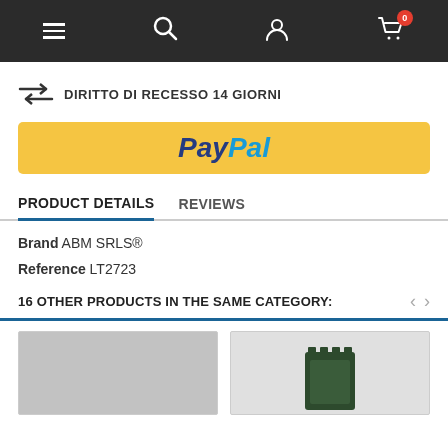Navigation bar with menu, search, account, and cart icons
DIRITTO DI RECESSO 14 GIORNI
[Figure (other): PayPal payment button (yellow background with PayPal logo)]
PRODUCT DETAILS   REVIEWS
Brand ABM SRLS®
Reference LT2723
16 OTHER PRODUCTS IN THE SAME CATEGORY:
[Figure (photo): Gray rectangular product image (left card)]
[Figure (photo): Dark green/black electronic module product image (right card)]